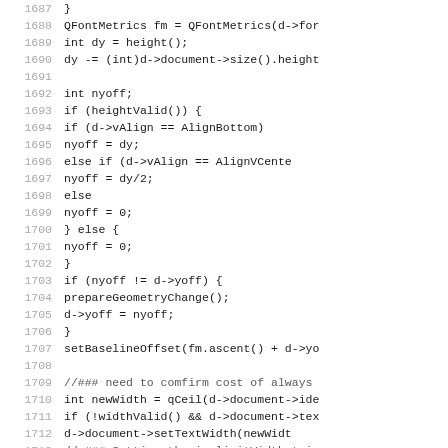Source code listing, lines 1687–1716, showing C++ code for font metrics, vertical alignment, and text width calculations.